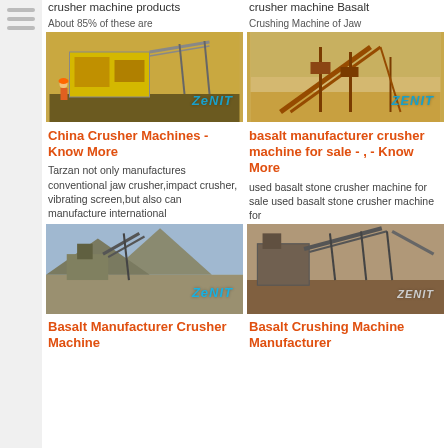crusher machine products
About 85% of these are
crusher machine Basalt Crushing Machine of Jaw
[Figure (photo): Industrial crusher machine facility with yellow equipment and a worker, Zenit watermark]
[Figure (photo): Basalt crushing machine facility with conveyor structures, Zenit watermark]
China Crusher Machines - Know More
basalt manufacturer crusher machine for sale - , - Know More
Tarzan not only manufactures conventional jaw crusher,impact crusher, vibrating screen,but also can manufacture international
used basalt stone crusher machine for sale used basalt stone crusher machine for
[Figure (photo): Outdoor basalt crushing plant with mountains in background, Zenit watermark]
[Figure (photo): Large basalt crushing machine facility with industrial structures, Zenit watermark]
Basalt Manufacturer Crusher Machine
Basalt Crushing Machine Manufacturer